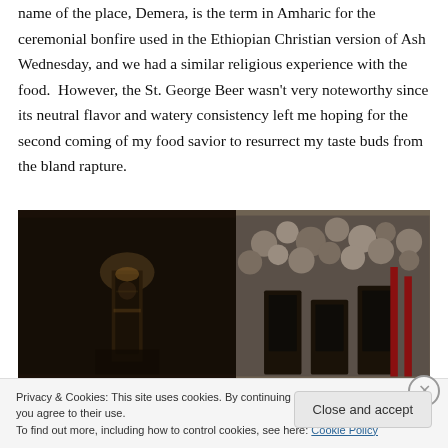name of the place, Demera, is the term in Amharic for the ceremonial bonfire used in the Ethiopian Christian version of Ash Wednesday, and we had a similar religious experience with the food.  However, the St. George Beer wasn't very noteworthy since its neutral flavor and watery consistency left me hoping for the second coming of my food savior to resurrect my taste buds from the bland rapture.
[Figure (photo): A dark photograph showing a beer bottle/glass on the left side against a dark background, and a stone wall with dark framed objects on the right side.]
Privacy & Cookies: This site uses cookies. By continuing to use this website, you agree to their use.
To find out more, including how to control cookies, see here: Cookie Policy